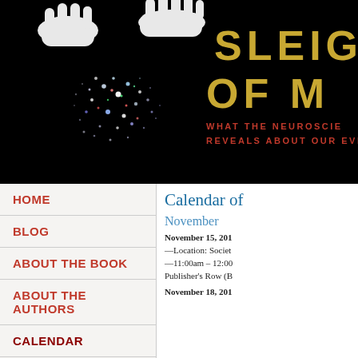[Figure (illustration): Book cover / website header showing two white-gloved hands over a glowing constellation-like brain on black background, with the title SLEIGH OF M (cropped) in gold letters and subtitle WHAT THE NEUROSCIE... REVEALS ABOUT OUR EVER... in red]
HOME
BLOG
ABOUT THE BOOK
ABOUT THE AUTHORS
CALENDAR
MAGIC ADVISORS
Calendar of
November
November 15, 201...  —Location: Societ...  —11:00am – 12:00...  Publisher's Row (B...
November 18, 201...